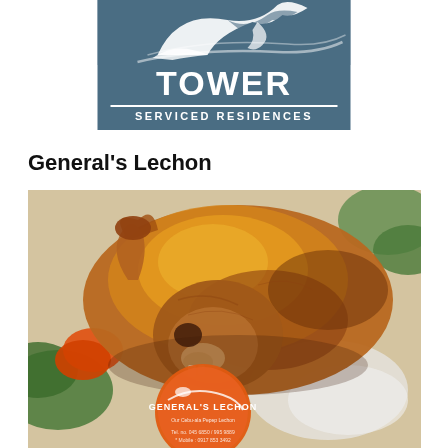[Figure (logo): Tower Serviced Residences logo — steel-blue rectangle with white bird silhouette graphic at top, bold white 'TOWER' text, horizontal white rule, and 'SERVICED RESIDENCES' text below]
General's Lechon
[Figure (photo): Close-up photograph of a whole roasted pig (lechon) with golden-brown crispy skin, displayed on a platter with vegetables, and an orange circular General's Lechon branded tag/label visible in the lower portion of the image]